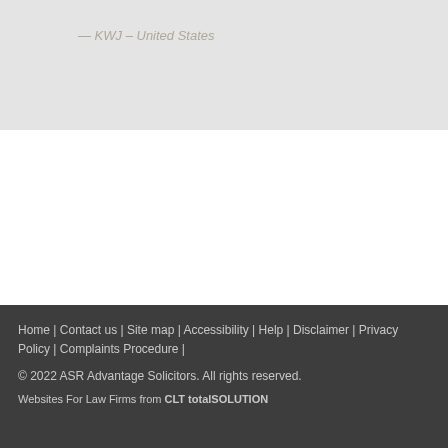— KWJ – United States
Home | Contact us | Site map | Accessibility | Help | Disclaimer | Privacy Policy | Complaints Procedure |
© 2022 ASR Advantage Solicitors. All rights reserved.
Websites For Law Firms from CLT totalSOLUTION